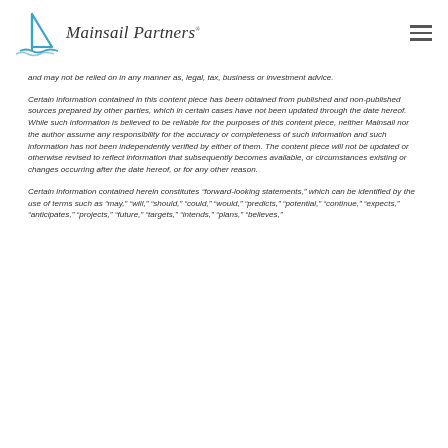Mainsail Partners
and may not be relied on in any manner as, legal, tax, business or investment advice.
Certain information contained in this content piece has been obtained from published and non-published sources prepared by other parties, which in certain cases have not been updated through the date hereof. While such information is believed to be reliable for the purposes of this content piece, neither Mainsail nor the author assume any responsibility for the accuracy or completeness of such information and such information has not been independently verified by either of them. The content piece will not be updated or otherwise revised to reflect information that subsequently becomes available, or circumstances existing or changes occurring after the date hereof, or for any other reason.
Certain information contained herein constitutes "forward-looking statements," which can be identified by the use of terms such as "may," "will," "should," "could," "would," "predicts," "potential," "continue," "expects," "anticipates," "projects," "future," "targets," "intends," "plans," "believes,"